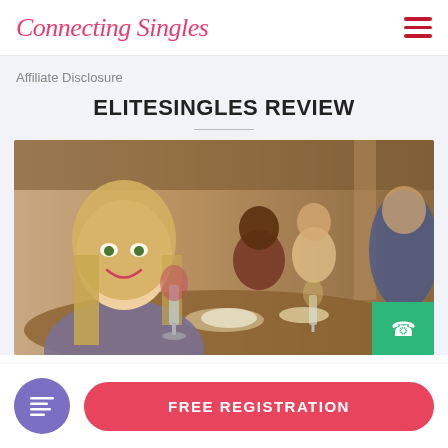Connecting Singles
Affiliate Disclosure
ELITESINGLES REVIEW
[Figure (photo): Photo of a smiling blonde woman holding a glass of red wine at a restaurant table with other people socializing in the background. A green badge/button is visible in the lower right corner of the image.]
FREE REGISTRATION